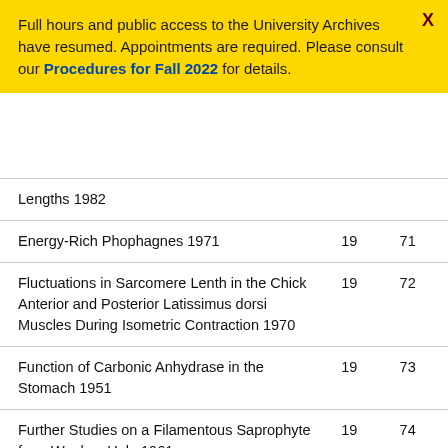Full hours and public access to the University Archives have resumed. Appointments are required. Please consult our Procedures for Fall 2022 for details.
| Title | Vol | No |
| --- | --- | --- |
| Lengths 1982 |  |  |
| Energy-Rich Phophagnes 1971 | 19 | 71 |
| Fluctuations in Sarcomere Lenth in the Chick Anterior and Posterior Latissimus dorsi Muscles During Isometric Contraction 1970 | 19 | 72 |
| Function of Carbonic Anhydrase in the Stomach 1951 | 19 | 73 |
| Further Studies on a Filamentous Saprophyte from Wookey Hole 1961 | 19 | 74 |